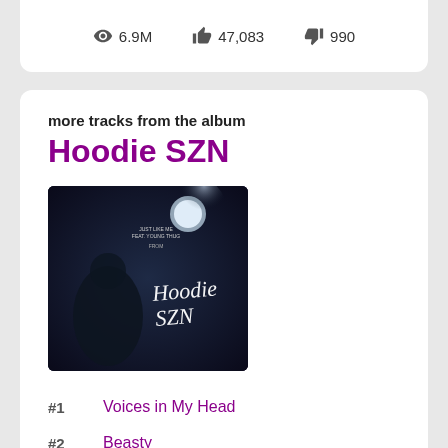6.9M  47,083  990
more tracks from the album
Hoodie SZN
[Figure (photo): Album cover artwork for Hoodie SZN showing a dark moody scene with a figure and stylized Hoodie SZN text]
#1   Voices in My Head
#2   Beasty
#3   I Did It
#4   Swervin
#5   Startender
#6   ...